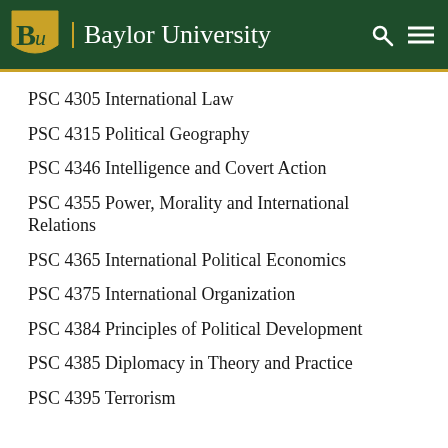Baylor University
PSC 4305 International Law
PSC 4315 Political Geography
PSC 4346 Intelligence and Covert Action
PSC 4355 Power, Morality and International Relations
PSC 4365 International Political Economics
PSC 4375 International Organization
PSC 4384 Principles of Political Development
PSC 4385 Diplomacy in Theory and Practice
PSC 4395 Terrorism